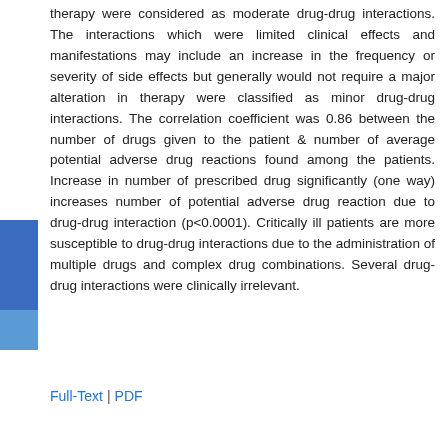therapy were considered as moderate drug-drug interactions. The interactions which were limited clinical effects and manifestations may include an increase in the frequency or severity of side effects but generally would not require a major alteration in therapy were classified as minor drug-drug interactions. The correlation coefficient was 0.86 between the number of drugs given to the patient & number of average potential adverse drug reactions found among the patients. Increase in number of prescribed drug significantly (one way) increases number of potential adverse drug reaction due to drug-drug interaction (p<0.0001). Critically ill patients are more susceptible to drug-drug interactions due to the administration of multiple drugs and complex drug combinations. Several drug-drug interactions were clinically irrelevant.
Full-Text | PDF